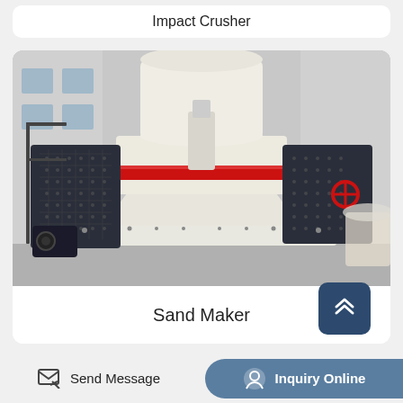Impact Crusher
[Figure (photo): Large industrial sand maker / VSI crusher machine in white and dark gray with red accent ring, mounted on a platform with perforated metal guard panels on both sides, photographed in an industrial yard]
Sand Maker
Send Message
Inquiry Online